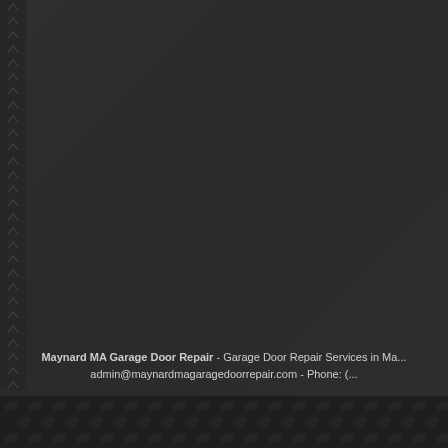[Figure (illustration): Dark textured background with left-side stitched border pattern and a diamond plate strip at the bottom, typical of a garage/industrial service website footer or splash screen.]
Maynard MA Garage Door Repair - Garage Door Repair Services in Ma... admin@maynardmagaragedoorrepair.com - Phone: (...)